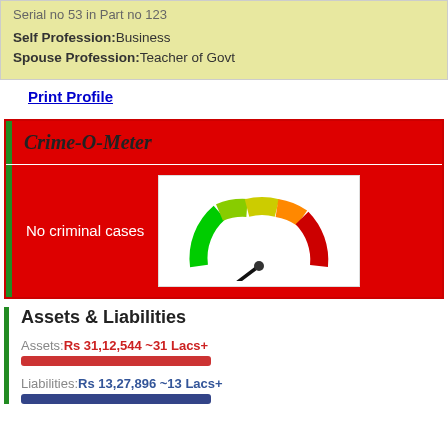Serial no 53 in Part no 123
Self Profession: Business
Spouse Profession: Teacher of Govt
Print Profile
Crime-O-Meter
No criminal cases
[Figure (other): Gauge/meter dial showing needle pointing to green (low) end of a color gradient arc from green to red, indicating no criminal cases]
Assets & Liabilities
Assets: Rs 31,12,544 ~31 Lacs+
Liabilities: Rs 13,27,896 ~13 Lacs+